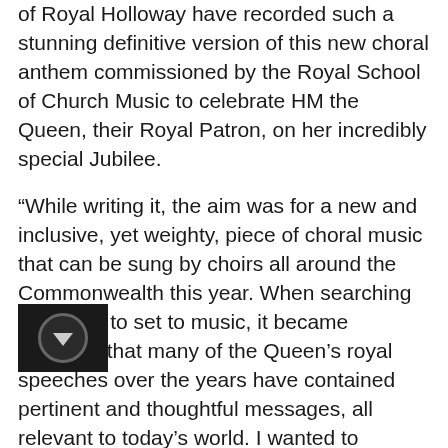of Royal Holloway have recorded such a stunning definitive version of this new choral anthem commissioned by the Royal School of Church Music to celebrate HM the Queen, their Royal Patron, on her incredibly special Jubilee.
“While writing it, the aim was for a new and inclusive, yet weighty, piece of choral music that can be sung by choirs all around the Commonwealth this year. When searching for words to set to music, it became apparent that many of the Queen’s royal speeches over the years have contained pertinent and thoughtful messages, all relevant to today’s world. I wanted to incorporate many of these in the anthem, so I decided to write new words inspired by certain quotes which particularly stood out. I hope that the result is a vibrant, uplifting (and, if I’m honest, quite emotionally charged) piece of music which celebrates both the reign of our incredible monarch, and the ever-valuable medium of choral singing - arguably one of the most natural, uplifting, and unifying experiences of the